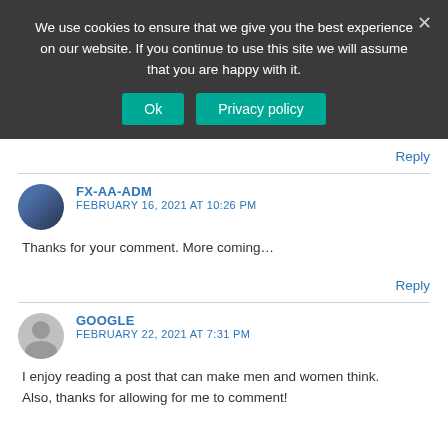We use cookies to ensure that we give you the best experience on our website. If you continue to use this site we will assume that you are happy with it.
Ok | Privacy policy
Reply
FX-AA-ADM
FEBRUARY 16, 2021 AT 10:26 PM
Thanks for your comment. More coming…
Reply
GOOGLE
FEBRUARY 22, 2021 AT 7:31 PM
I enjoy reading a post that can make men and women think.
Also, thanks for allowing for me to comment!